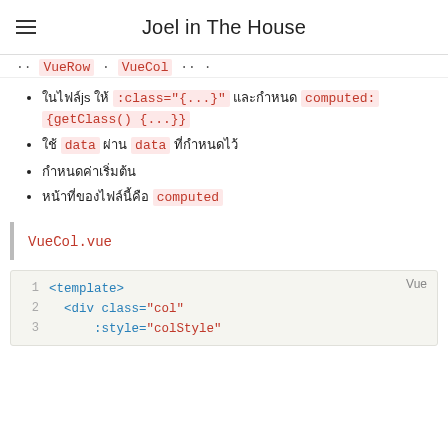Joel in The House
VueRow · VueCol ·· ·
ในไฟล์jsให้ :class="{...}" และกำหนด computed: {getClass() {...}}
ใช้ data ผ่าน data ที่กำหนดไว้
กำหนดค่าเริ่มต้น
หน้าที่ของไฟล์นี้คือ computed
VueCol.vue
[Figure (screenshot): Code block showing Vue template with <template>, <div class="col" :style="colStyle" lines, labeled 'Vue']